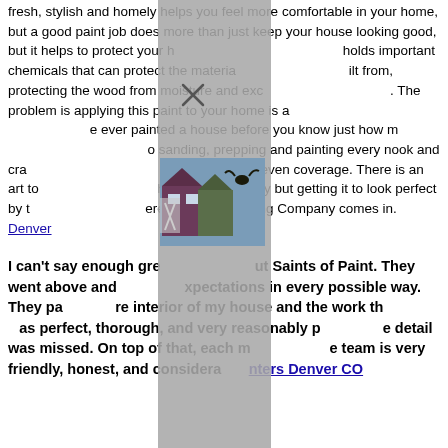fresh, stylish and homely helps you feel more comfortable in your home, but a good paint job does more than just keep your house looking good, but it helps to protect your h[...] holds important chemicals that can protect the materia[...] ilt from, protecting the wood from moisture and exc[...]. The problem is applying this paint to your home is a [...] e ever painted a house before you know just how m[...] o sanding, prepping and painting every nook and cra[...] that there's even coverage. There is an art to[...] h home completely but getting it to look perfect by t[...] ere Richland Painting Company comes in. Denver[...]
[Figure (photo): A modal/dialog overlay panel (gray background with X close button) partially covering the page, with a photo of houses and workers visible inside the modal at the bottom portion.]
I can't say enough gre[...] ut Saints of Paint. They went above and [...] xpectations in every possible way. They pa[...] re interior of my house and the work th[...] as perfect, thorough, and very reasonably p[...] e detail was missed. On top of that, each m[...] team is very friendly, honest, and considera[...] nters Denver CO